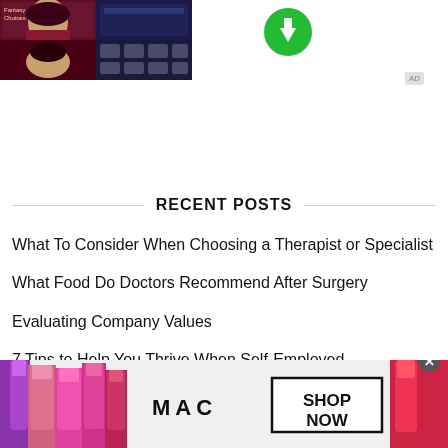[Figure (screenshot): Game app screenshot showing anime-style character artwork with dark red and navy color scheme, grid layout of character faces]
[Figure (illustration): Green circle download arrow icon]
[Figure (other): Ad badge label]
RECENT POSTS
What To Consider When Choosing a Therapist or Specialist
What Food Do Doctors Recommend After Surgery
Evaluating Company Values
7 Tips to Help You Thrive When Self-Employed
[Figure (photo): MAC Cosmetics advertisement banner showing colorful lipsticks, MAC logo, and SHOP NOW button with close X button]